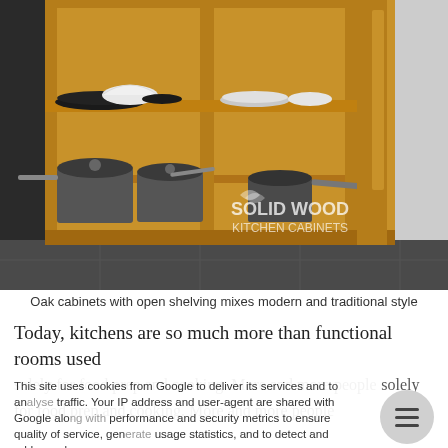[Figure (photo): Oak kitchen cabinets with open shelving displaying pots and pans on lower shelf and bowls/plates on upper shelf. Solid wood construction in warm oak color. Watermark reads 'SOLID WOOD KITCHEN CABINETS'.]
Oak cabinets with open shelving mixes modern and traditional style
Today, kitchens are so much more than functional rooms used solely for food prep and cooking. More and more people now use them as a place where the family come together, entertains guests. Adding a central island or a relaxing seating area is sure to provide the flexibility that
This site uses cookies from Google to deliver its services and to analyse traffic. Your IP address and user-agent are shared with Google along with performance and security metrics to ensure quality of service, generate usage statistics, and to detect and address abuse.